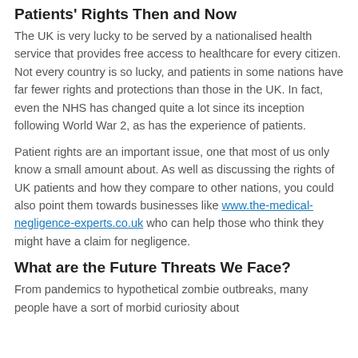Patients' Rights Then and Now
The UK is very lucky to be served by a nationalised health service that provides free access to healthcare for every citizen. Not every country is so lucky, and patients in some nations have far fewer rights and protections than those in the UK. In fact, even the NHS has changed quite a lot since its inception following World War 2, as has the experience of patients.
Patient rights are an important issue, one that most of us only know a small amount about. As well as discussing the rights of UK patients and how they compare to other nations, you could also point them towards businesses like www.the-medical-negligence-experts.co.uk who can help those who think they might have a claim for negligence.
What are the Future Threats We Face?
From pandemics to hypothetical zombie outbreaks, many people have a sort of morbid curiosity about